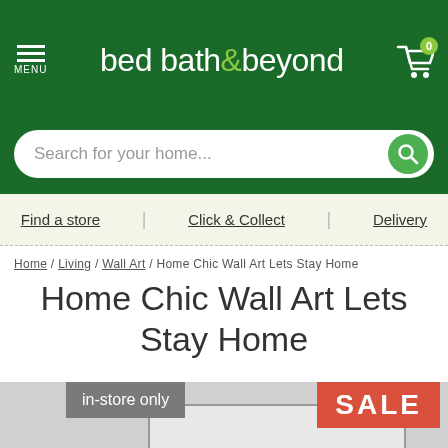bed bath & beyond – MENU, cart 0
Search for your home...
Find a store  |  Click & Collect  |  Delivery
Home / Living / Wall Art / Home Chic Wall Art Lets Stay Home
Home Chic Wall Art Lets Stay Home
[Figure (photo): Product image partially visible with 'in-store only' grey badge and 'SALE' red-orange badge overlaid]
in-store only
SALE